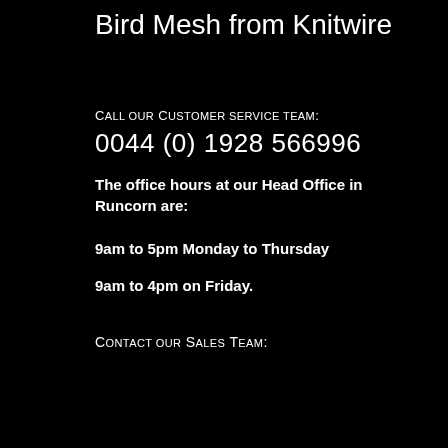Bird Mesh from Knitwire
Call our Customer service team:
0044 (0) 1928 566996
The office hours at our Head Office in Runcorn are:
9am to 5pm Monday to Thursday
9am to 4pm on Friday.
Contact our Sales Team:
[Figure (screenshot): A contact form input field labeled 'Name' on a grey background, with a reCAPTCHA badge in the bottom right corner]